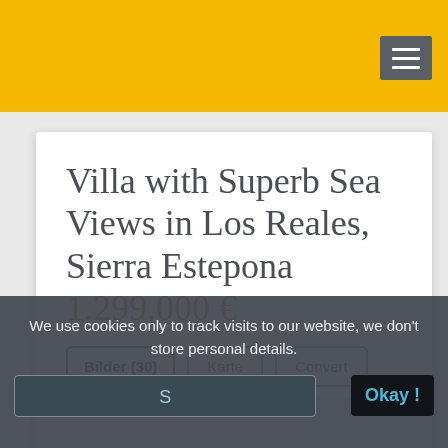Villa with Superb Sea Views in Los Reales, Sierra Estepona 1.299.000 €
Bilder (30)
Karte
Convert
We use cookies only to track visits to our website, we don't store personal details.
S
Okay !